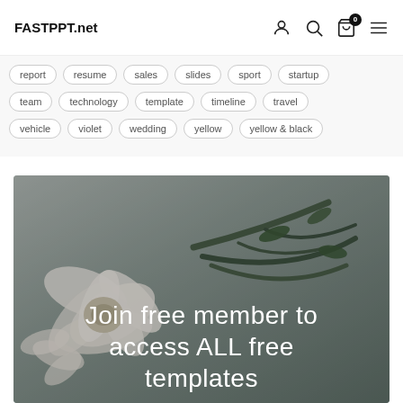FASTPPT.net
report
resume
sales
slides
sport
startup
team
technology
template
timeline
travel
vehicle
violet
wedding
yellow
yellow & black
[Figure (photo): Flower/floral background image with white flower blooms and green stems on a grey background, overlaid with text 'Join free member to access ALL free templates']
Join free member to access ALL free templates